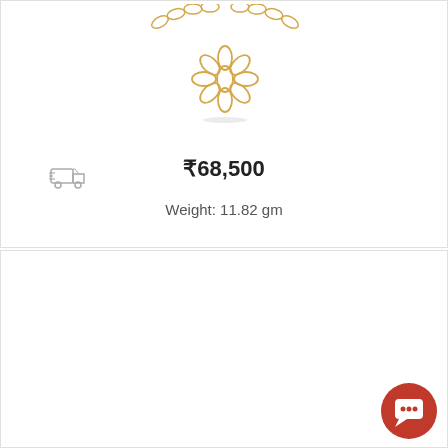[Figure (photo): Gold flower-shaped diamond necklace pendant with marquise-cut stones on a gold chain, shown on white background]
₹68,500
[Figure (illustration): Gray delivery truck icon indicating shipping/delivery]
Weight: 11.82 gm
[Figure (illustration): Heart outline icon (wishlist/favorite)]
[Figure (illustration): Red circular chat/support button at bottom right corner]